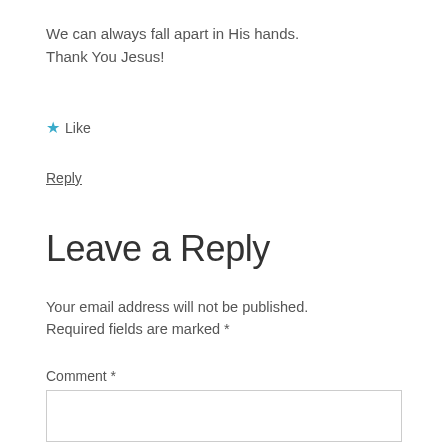We can always fall apart in His hands.
Thank You Jesus!
★ Like
Reply
Leave a Reply
Your email address will not be published. Required fields are marked *
Comment *